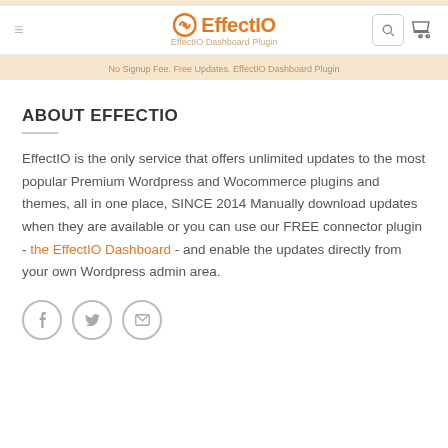EffectIO — No Signup Fee, Free Updates, EffectIO Dashboard Plugin
ABOUT EFFECTIO
EffectIO is the only service that offers unlimited updates to the most popular Premium Wordpress and Wocommerce plugins and themes, all in one place, SINCE 2014 Manually download updates when they are available or you can use our FREE connector plugin - the EffectIO Dashboard - and enable the updates directly from your own Wordpress admin area.
[Figure (other): Social sharing icons: Facebook, Twitter, Email]